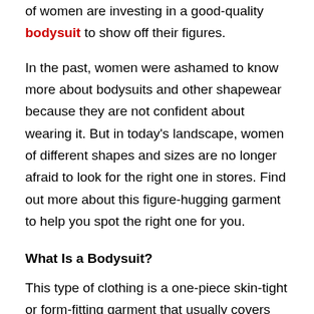of women are investing in a good-quality bodysuit to show off their figures.
In the past, women were ashamed to know more about bodysuits and other shapewear because they are not confident about wearing it. But in today’s landscape, women of different shapes and sizes are no longer afraid to look for the right one in stores. Find out more about this figure-hugging garment to help you spot the right one for you.
What Is a Bodysuit?
This type of clothing is a one-piece skin-tight or form-fitting garment that usually covers the body from the crotch to the torso. Some of these garments also extend towards